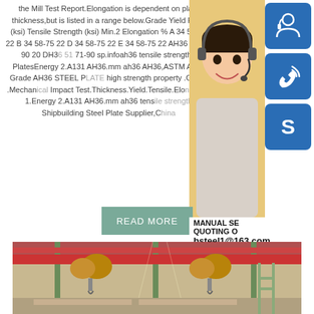the Mill Test Report.Elongation is dependent on plate thickness,but is listed in a range below.Grade Yield Point (ksi) Tensile Strength (ksi) Min.2 Elongation % A 34 58-75 22 B 34 58-75 22 D 34 58-75 22 E 34 58-75 22 AH36 51 71-90 20 DH36 51 71-90 sp.infoah36 tensile strength - PlatesEnergy 2.A131 AH36.mm ah36 AH36,ASTM A131 Grade AH36 STEEL PLATE high strength property .Grade .Mechanical Impact Test.Thickness.Yield.Tensile.Elongation 1.Energy 2.A131 AH36.mm ah36 tensile strength Shipbuilding Steel Plate Supplier,China
[Figure (photo): Customer service representative woman with headset, yellow background]
[Figure (illustration): Blue icon box with headset/person icon]
[Figure (illustration): Blue icon box with phone/wifi signal icon]
[Figure (illustration): Blue icon box with Skype 'S' logo icon]
READ MORE
MANUAL SE... QUOTING O... bsteel1@163.com
[Figure (photo): Industrial factory interior with overhead cranes and steel structures]